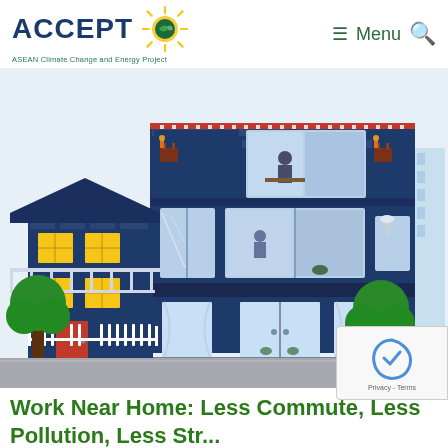ACCEPT — ASEAN Climate Change and Energy Project | Menu
[Figure (illustration): Illustration of a mixed-use building with dark blue brick facade, multiple floors with windows showing interior scenes, a smaller attached house on the left with yellow windows and red door, white picket fence, green trees, and a city building in the background on the right. Gray sidewalk at bottom.]
Work Near Home: Less Commute, Less Pollution, Less Stress